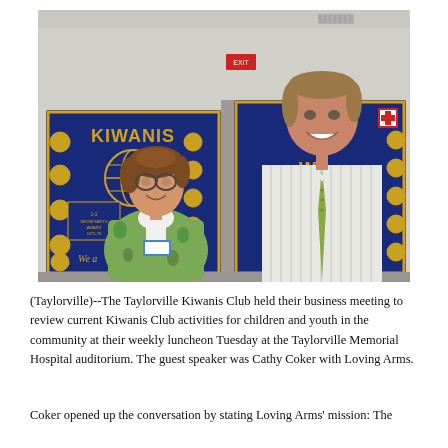[Figure (photo): Two people standing in front of a Kiwanis Club banner. A woman with short brown hair wearing glasses and a colorful patterned jacket stands on the left. A tall man in a striped shirt and green tie stands on the right. The blue Kiwanis Club banner with gold lettering and medallions is visible behind them.]
(Taylorville)--The Taylorville Kiwanis Club held their business meeting to review current Kiwanis Club activities for children and youth in the community at their weekly luncheon Tuesday at the Taylorville Memorial Hospital auditorium. The guest speaker was Cathy Coker with Loving Arms.
Coker opened up the conversation by stating Loving Arms' mission: The